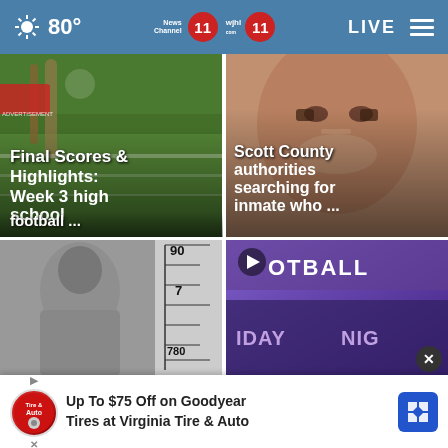80° | News Channel 11 | wjhl 11 | LIVE
[Figure (photo): Football player catching a ball on a green field with white text overlay reading: Final Scores & Highlights: Week 3 high school football ...]
[Figure (photo): Close-up mugshot of a man's face with white text overlay reading: Scott County authorities searching for inmate who ...]
[Figure (photo): Booking photo / height ruler showing numbers 90, 7, 780]
[Figure (photo): Friday Night Football logo graphic in purple/gold with play button icon]
Up To $75 Off on Goodyear Tires at Virginia Tire & Auto